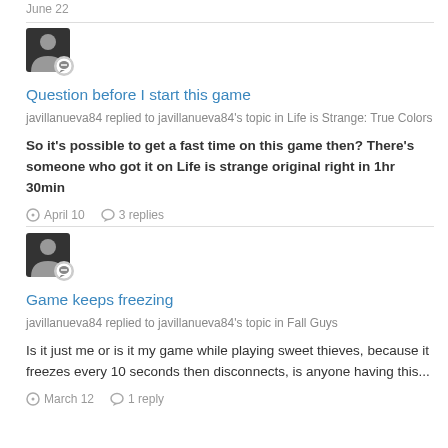June 22
[Figure (illustration): User avatar icon with chat badge overlay]
Question before I start this game
javillanueva84 replied to javillanueva84's topic in Life is Strange: True Colors
So it's possible to get a fast time on this game then? There's someone who got it on Life is strange original right in 1hr 30min
April 10   3 replies
[Figure (illustration): User avatar icon with chat badge overlay]
Game keeps freezing
javillanueva84 replied to javillanueva84's topic in Fall Guys
Is it just me or is it my game while playing sweet thieves, because it freezes every 10 seconds then disconnects, is anyone having this...
March 12   1 reply